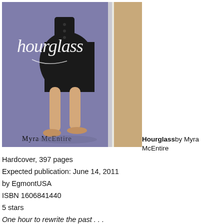[Figure (illustration): Book cover of 'Hourglass' by Myra McEntire. Shows a woman in a black dress standing in a doorway against a purple background. The title 'hourglass' is written in white cursive script across the top.]
Hourglass by Myra McEntire
Hardcover, 397 pages
Expected publication: June 14, 2011
by EgmontUSA
ISBN 1606841440
5 stars
One hour to rewrite the past . . .